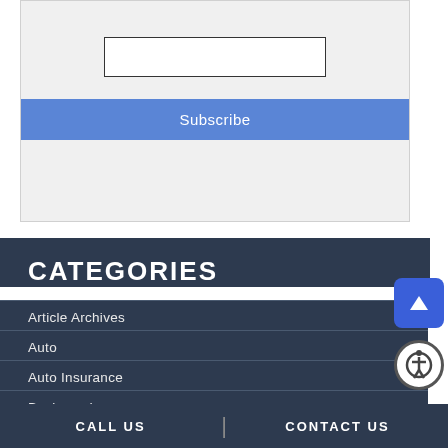Enter your email address:
[Figure (other): Email input text field (empty) and Subscribe button on a light gray background]
CATEGORIES
Article Archives
Auto
Auto Insurance
Business Insurance
CALL US | CONTACT US